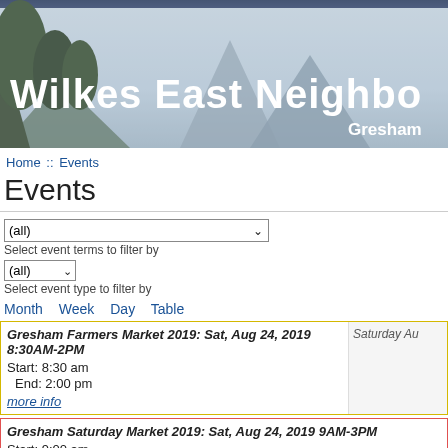[Figure (photo): Banner image of Wilkes East Neighborhood website header with mountain landscape background, trees on the left, and white bold text reading 'Wilkes East Neighbo' and 'Gresham' on the right]
Home :: Events
Events
(all) dropdown - Select event terms to filter by
(all) dropdown - Select event type to filter by
Month  Week  Day  Table
Gresham Farmers Market 2019: Sat, Aug 24, 2019 8:30AM-2PM
Start: 8:30 am
End: 2:00 pm
more info
Saturday Au
Gresham Saturday Market 2019: Sat, Aug 24, 2019 9AM-3PM
Start: 9:00 am